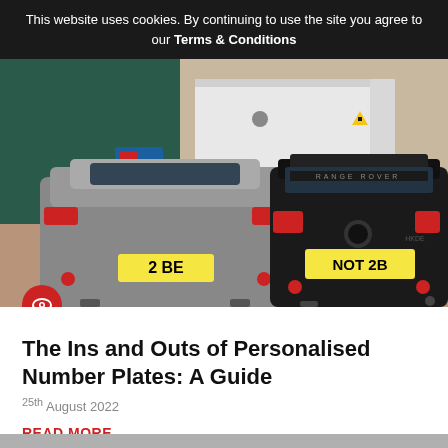This website uses cookies. By continuing to use the site you agree to our Terms & Conditions
[Figure (photo): Two luxury cars parked rear-facing in a parking area. Left car is a silver Aston Martin with yellow number plate '2 BE'. Right car is a black Range Rover with yellow number plate 'NOT 2B'. Blue fence and white industrial unit in background.]
The Ins and Outs of Personalised Number Plates: A Guide
25th August 2022
READ MORE